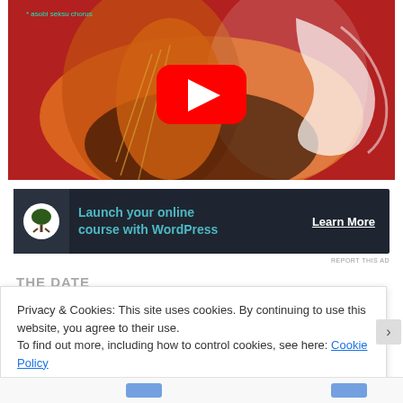[Figure (screenshot): YouTube video thumbnail showing anime-style illustration with red/orange color scheme; large red YouTube play button centered over the image. Text overlay reads 'asobi seksu chorus'.]
[Figure (screenshot): Advertisement banner with dark navy background. Circle icon with bonsai tree on left. Teal text reads 'Launch your online course with WordPress'. White underlined text 'Learn More' on the right.]
REPORT THIS AD
Privacy & Cookies: This site uses cookies. By continuing to use this website, you agree to their use.
To find out more, including how to control cookies, see here: Cookie Policy
Close and accept